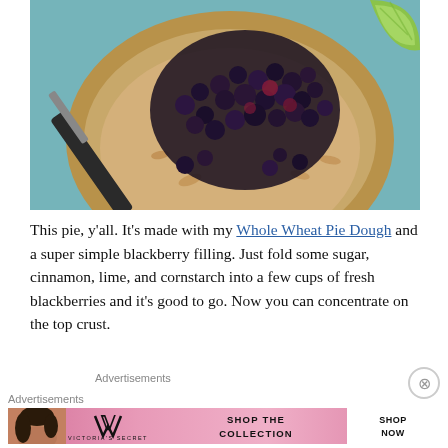[Figure (photo): Overhead view of an open whole wheat pie crust filled with blackberries, on a teal/blue surface. A knife and lime wedge are visible.]
This pie, y’all. It’s made with my Whole Wheat Pie Dough and a super simple blackberry filling. Just fold some sugar, cinnamon, lime, and cornstarch into a few cups of fresh blackberries and it’s good to go. Now you can concentrate on the top crust.
Advertisements
Advertisements
[Figure (screenshot): Victoria's Secret advertisement banner: pink background with model photo, VS logo, 'SHOP THE COLLECTION' text, and 'SHOP NOW' button.]